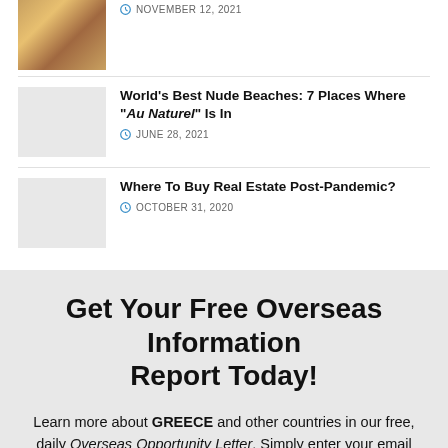[Figure (photo): Thumbnail image with colorful illustration, partially visible at top]
NOVEMBER 12, 2021
World's Best Nude Beaches: 7 Places Where "Au Naturel" Is In
JUNE 28, 2021
Where To Buy Real Estate Post-Pandemic?
OCTOBER 31, 2020
Get Your Free Overseas Information Report Today!
Learn more about GREECE and other countries in our free, daily Overseas Opportunity Letter. Simply enter your email address below and we'll send you our FREE REPORT - The